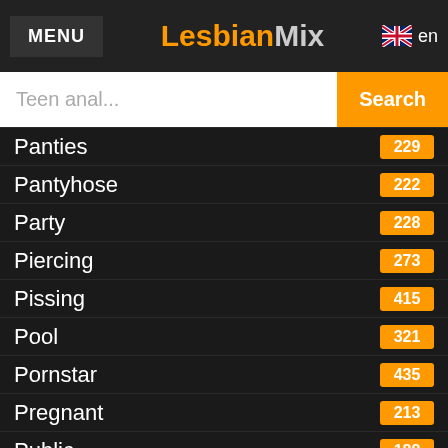MENU | LesbianMix | en
Teen anal... Search
Panties 229
Pantyhose 222
Party 228
Piercing 273
Pissing 415
Pool 321
Pornstar 435
Pregnant 213
Public 188
Pussy 519
Reality 304